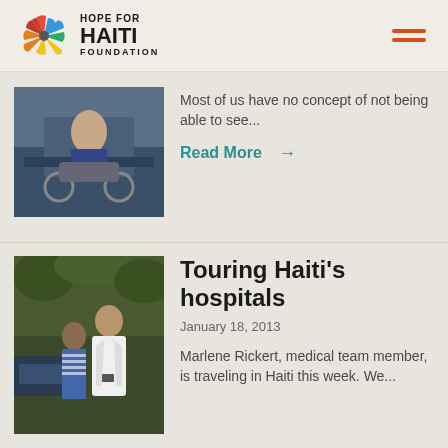[Figure (logo): Hope for Haiti Foundation logo with colorful pinwheel star and bold text]
Most of us have no concept of not being able to see...
Read More →
[Figure (photo): Two people outdoors, one in a white medical coat, another in a striped shirt, standing near a car with foliage in the background]
Touring Haiti's hospitals
January 18, 2013
Marlene Rickert, medical team member, is traveling in Haiti this week. We...